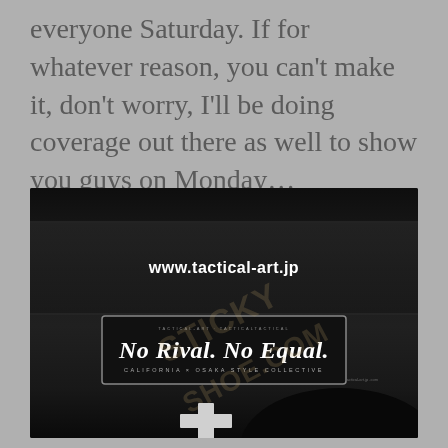everyone Saturday. If for whatever reason, you can't make it, don't worry, I'll be doing coverage out there as well to show you guys on Monday…
[Figure (photo): Photo of a car rear window with a sticker reading 'www.tactical-art.jp' and a bumper sticker that reads 'No Rival. No Equal. California x Osaka Style Collective'. A watermark reading 'STICKYSHOE.COM' is overlaid diagonally on the image.]